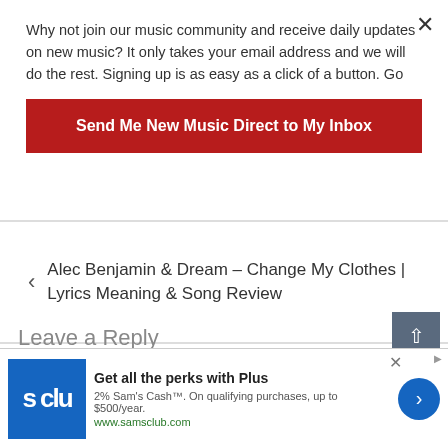Why not join our music community and receive daily updates on new music? It only takes your email address and we will do the rest. Signing up is as easy as a click of a button. Go
Send Me New Music Direct to My Inbox
Alec Benjamin & Dream – Change My Clothes | Lyrics Meaning & Song Review
Lorde – Secrets from a Girl (Who's Seen it All) | Lyrics Meaning Explained
[Figure (screenshot): Sam's Club advertisement banner with logo, 'Get all the perks with Plus' headline, '2% Sam's Cash™. On qualifying purchases, up to $500/year.' subtext, www.samsclub.com URL, and a blue arrow CTA button]